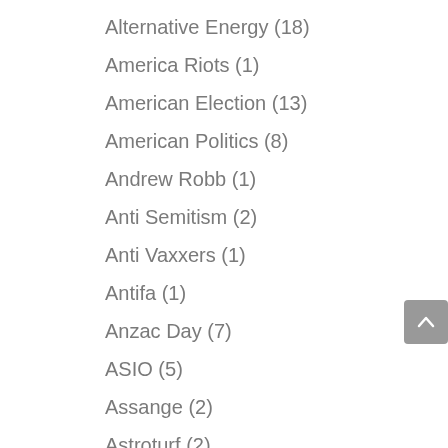Alternative Energy (18)
America Riots (1)
American Election (13)
American Politics (8)
Andrew Robb (1)
Anti Semitism (2)
Anti Vaxxers (1)
Antifa (1)
Anzac Day (7)
ASIO (5)
Assange (2)
Astroturf (2)